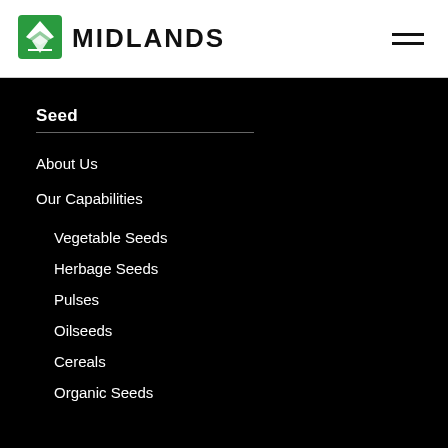[Figure (logo): Midlands logo: green square with white layered diamond/seed icon, followed by bold text MIDLANDS]
MIDLANDS
Seed
About Us
Our Capabilities
Vegetable Seeds
Herbage Seeds
Pulses
Oilseeds
Cereals
Organic Seeds